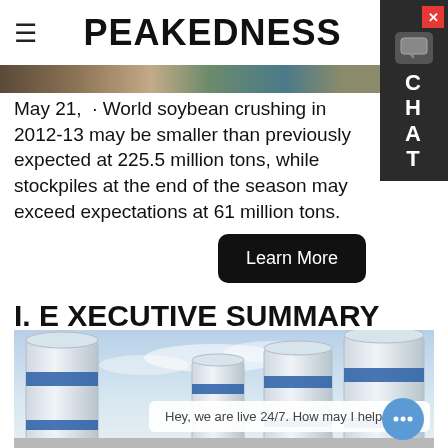PEAKEDNESS
[Figure (photo): Horizontal banner strip showing a blurred outdoor scene]
May 21,  · World soybean crushing in 2012-13 may be smaller than previously expected at 225.5 million tons, while stockpiles at the end of the season may exceed expectations at 61 million tons.
Learn More
I.  E XECUTIVE SUMMARY
[Figure (photo): Industrial cement silos — tall white cylindrical structures with blue accents against a cloudy sky. A live chat popup reads: Hey, we are live 24/7. How may I help you?]